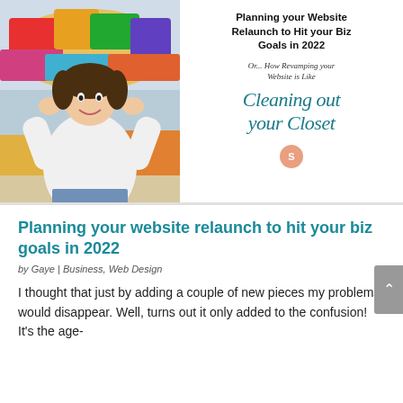[Figure (photo): Woman in white blouse looking stressed, standing in front of an overflowing, colorful cluttered closet with clothes piled up.]
Planning your Website Relaunch to Hit your Biz Goals in 2022
Or... How Revamping your Website is Like
Cleaning out your Closet
Planning your website relaunch to hit your biz goals in 2022
by Gaye | Business, Web Design
I thought that just by adding a couple of new pieces my problems would disappear. Well, turns out it only added to the confusion! It's the age-